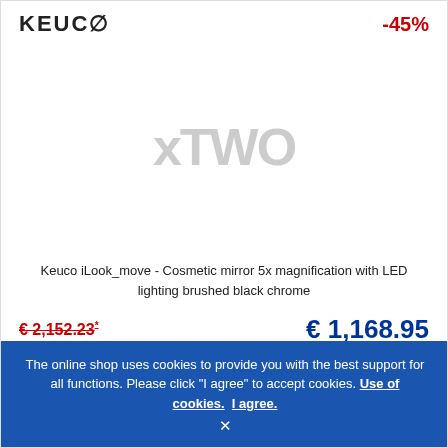KEUCO
-45%
[Figure (photo): Product image placeholder showing 'xTWO' watermark text in light gray, representing a Keuco iLook_move cosmetic mirror with LED lighting in brushed black chrome]
Keuco iLook_move - Cosmetic mirror 5x magnification with LED lighting brushed black chrome
€ 2,152.23*
€ 1,168.95
Delivery time: TBD, approx. 8 weeks
The online shop uses cookies to provide you with the best support for all functions. Please click "I agree" to accept cookies. Use of cookies. I agree.